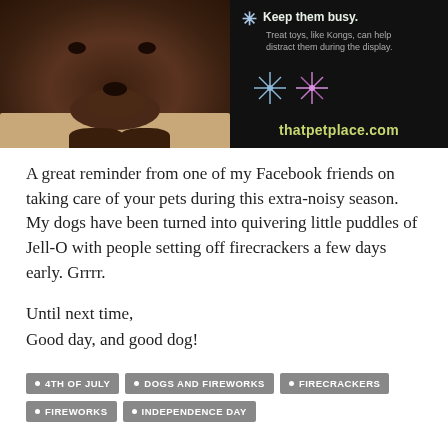[Figure (photo): Advertisement image showing a chocolate Labrador dog resting its chin on a surface, looking sad/anxious, next to a black panel with text 'Keep them busy. Treat toys, like Kongs, can help distract them during the display.' with firework decorations and the URL thatpetplace.com]
A great reminder from one of my Facebook friends on taking care of your pets during this extra-noisy season. My dogs have been turned into quivering little puddles of Jell-O with people setting off firecrackers a few days early. Grrrr.
Until next time,
Good day, and good dog!
4TH OF JULY
DOGS AND FIREWORKS
FIRECRACKERS
FIREWORKS
INDEPENDENCE DAY